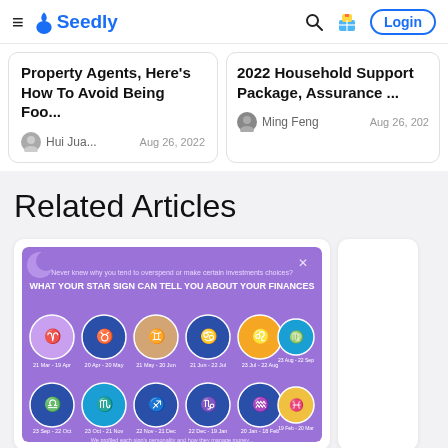≡ Seedly | Search | Gift | Login
Property Agents, Here's How To Avoid Being Foo...
Hui Jua... Aug 26, 2022
2022 Household Support Package, Assurance ...
Ming Feng Aug 26, 202
Related Articles
[Figure (infographic): Purple infographic titled 'What Your Star Sign Can Tell You About Your Finances' showing 12 zodiac signs with date ranges and illustrated circular icons for each sign arranged in two rows.]